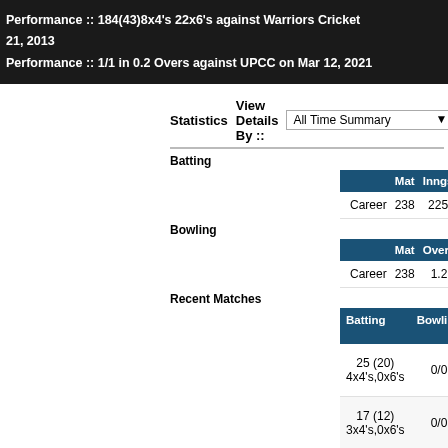Performance :: 184(43)8x4's 22x6's against Warriors Cricket 21, 2013
Performance :: 1/1 in 0.2 Overs against UPCC on Mar 12, 2021
Statistics   View Details By :: All Time Summary
Batting
|  | Mat | Inngs | Runs | Balls | Best | 50s | 100s | No's | StrkRat |
| --- | --- | --- | --- | --- | --- | --- | --- | --- | --- |
| Career | 238 | 225 | 8082 | 4288 | 184 | 57 | 8 | 32 | 188.48 |
Bowling
|  | Mat | Overs | Runs | Wkts | Best | StrkRate | Avrg | E |
| --- | --- | --- | --- | --- | --- | --- | --- | --- |
| Career | 238 | 1.2 | 16 | 2 | 1 | 4.00 | 8.00 | 1 |
Recent Matches
| Batting | Bowling | Match Date | Tournament | Match |
| --- | --- | --- | --- | --- |
| 25 (20)
4x4's,0x6's | 0/0 | Apr 02, 2021 | RPL-Championship Season-8 | The N Arab |
| 17 (12)
3x4's,0x6's | 0/0 | Mar 26, 2021 | RPL-Championship Season-8 | Hyderab The |